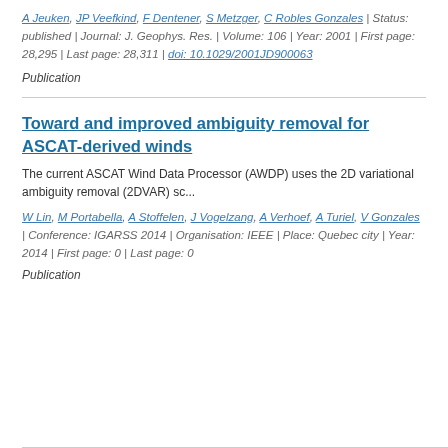A Jeuken, JP Veefkind, F Dentener, S Metzger, C Robles Gonzales | Status: published | Journal: J. Geophys. Res. | Volume: 106 | Year: 2001 | First page: 28,295 | Last page: 28,311 | doi: 10.1029/2001JD900063
Publication
Toward and improved ambiguity removal for ASCAT-derived winds
The current ASCAT Wind Data Processor (AWDP) uses the 2D variational ambiguity removal (2DVAR) sc...
W Lin, M Portabella, A Stoffelen, J Vogelzang, A Verhoef, A Turiel, V Gonzales | Conference: IGARSS 2014 | Organisation: IEEE | Place: Quebec city | Year: 2014 | First page: 0 | Last page: 0
Publication